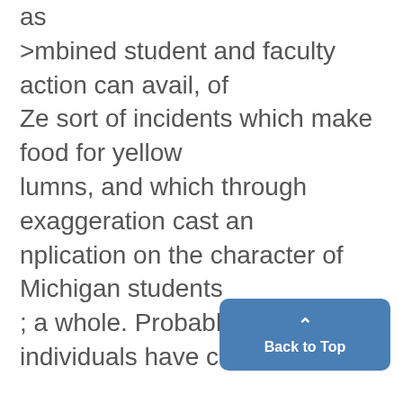as >mbined student and faculty action can avail, of Ze sort of incidents which make food for yellow lumns, and which through exaggeration cast an nplication on the character of Michigan students ; a whole. Probably no individuals have come to sadder and wiser realization of than the on whose recent thoughtless conduct has